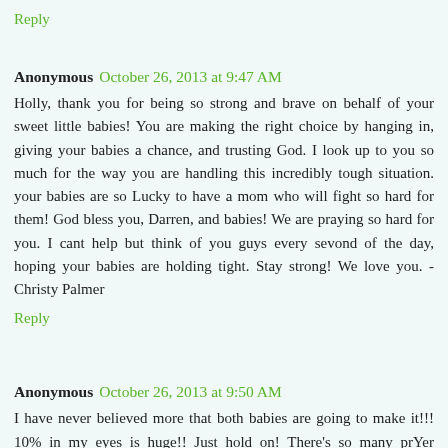Reply
Anonymous October 26, 2013 at 9:47 AM
Holly, thank you for being so strong and brave on behalf of your sweet little babies! You are making the right choice by hanging in, giving your babies a chance, and trusting God. I look up to you so much for the way you are handling this incredibly tough situation. your babies are so Lucky to have a mom who will fight so hard for them! God bless you, Darren, and babies! We are praying so hard for you. I cant help but think of you guys every sevond of the day, hoping your babies are holding tight. Stay strong! We love you. - Christy Palmer
Reply
Anonymous October 26, 2013 at 9:50 AM
I have never believed more that both babies are going to make it!!! 10% in my eyes is huge!! Just hold on! There's so many prYer warriors covering you! Just hold on!!! Much love for your family!!! I'm standing in faith your babies are going to LIVE!!!!!!